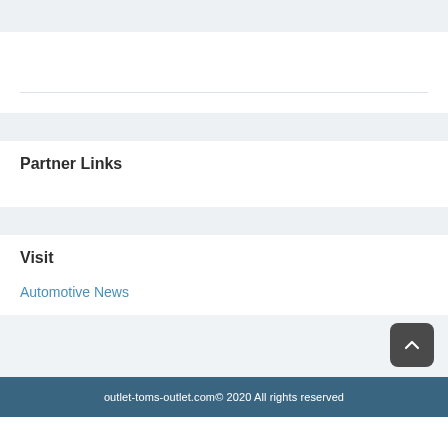Partner Links
Visit
Automotive News
outlet-toms-outlet.com© 2020 All rights reserved